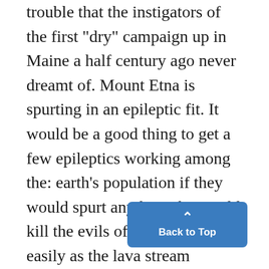trouble that the instigators of the first "dry" campaign up in Maine a half century ago never dreamt of. Mount Etna is spurting in an epileptic fit. It would be a good thing to get a few epileptics working among the: earth's population if they would spurt anything that could kill the evils of the world as easily as the lava stream demolishes everything it comes in contact with. If mosquitoes could be counted among the population of the c Ann Arbor, it would rank as the